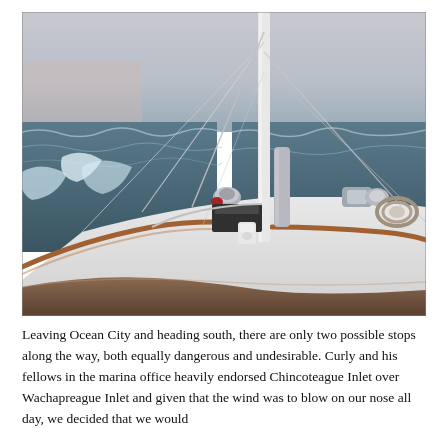[Figure (photo): View from the cockpit of a sailboat underway at sea. The photo shows the boat's white deck, teak rails, mast with rigging, winches, and cleats in the foreground. The ocean extends to the horizon under an overcast sky, with waves visible on both sides of the bow.]
Leaving Ocean City and heading south, there are only two possible stops along the way, both equally dangerous and undesirable. Curly and his fellows in the marina office heavily endorsed Chincoteague Inlet over Wachapreague Inlet and given that the wind was to blow on our nose all day, we decided that we would